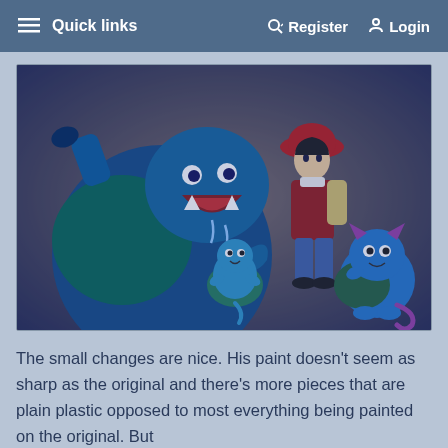Quick links   Register   Login
[Figure (photo): Pokemon figures: a large Blastoise with open mouth and water cannons on its back, a trainer figure in red cap and jacket, a small Squirtle in the center, and a Wartortle on the right. Figures are lit with a blue light against a beige textured wall.]
The small changes are nice. His paint doesn't seem as sharp as the original and there's more pieces that are plain plastic opposed to most everything being painted on the original. But